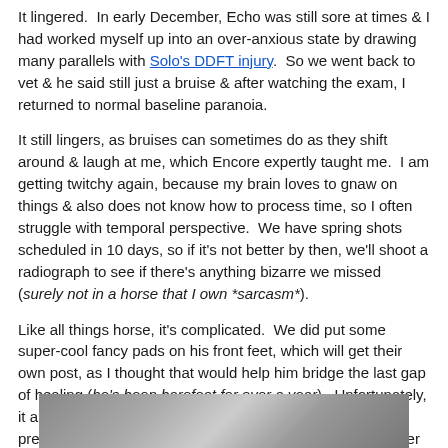It lingered.  In early December, Echo was still sore at times & I had worked myself up into an over-anxious state by drawing many parallels with Solo's DDFT injury.  So we went back to vet & he said still just a bruise & after watching the exam, I returned to normal baseline paranoia.
It still lingers, as bruises can sometimes do as they shift around & laugh at me, which Encore expertly taught me.  I am getting twitchy again, because my brain loves to gnaw on things & also does not know how to process time, so I often struggle with temporal perspective.  We have spring shots scheduled in 10 days, so if it's not better by then, we'll shoot a radiograph to see if there's anything bizarre we missed (surely not in a horse that I own *sarcasm*).
Like all things horse, it's complicated.  We did put some super-cool fancy pads on his front feet, which will get their own post, as I thought that would help him bridge the last gap of healing (he's been barefoot for over a year).  Unfortunately, it appeared that one nail, while not a "hot" nail, did put pressure next to the bruise, so we had to pull the shoes after a week & will try some glue-on boots instead.
[Figure (photo): Partial photo strip at the bottom of the page, showing what appears to be a horse or horse-related image, cropped]